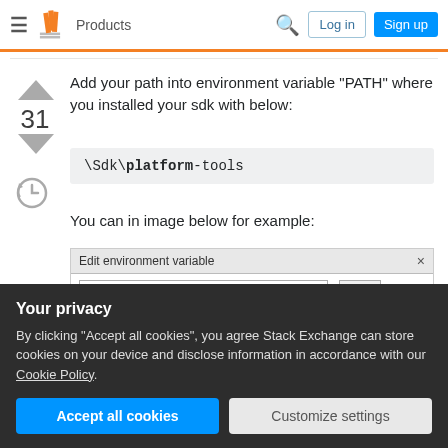Stack Overflow — Products | Log in | Sign up
Add your path into environment variable "PATH" where you installed your sdk with below:
31
\Sdk\platform-tools
You can in image below for example:
[Figure (screenshot): Edit environment variable dialog with C:\ProgramData\Oracle\Java\javapath field and New button]
Your privacy
By clicking "Accept all cookies", you agree Stack Exchange can store cookies on your device and disclose information in accordance with our Cookie Policy.
Accept all cookies
Customize settings